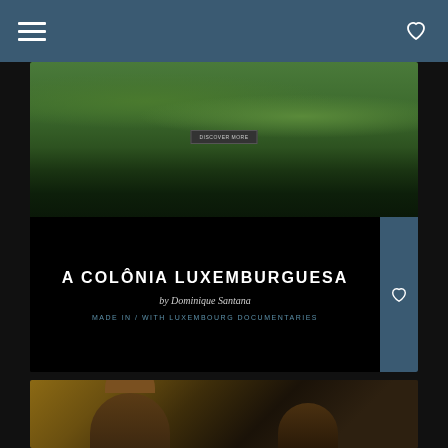Navigation bar with hamburger menu and heart/wishlist icon
[Figure (screenshot): Scenic top image of green forested hill with water, with a 'DISCOVER MORE' button overlay]
A COLÔNIA LUXEMBURGUESA
by Dominique Santana
MADE IN / WITH LUXEMBOURG DOCUMENTARIES
[Figure (photo): Bottom film card showing a person silhouetted against ornate wallpaper in a dark interior scene]